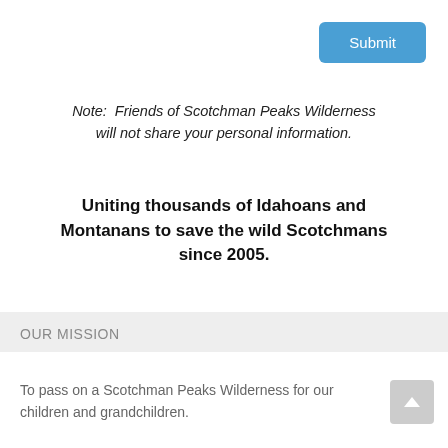[Figure (other): Blue Submit button in upper right corner]
Note:  Friends of Scotchman Peaks Wilderness will not share your personal information.
Uniting thousands of Idahoans and Montanans to save the wild Scotchmans since 2005.
OUR MISSION
To pass on a Scotchman Peaks Wilderness for our children and grandchildren.